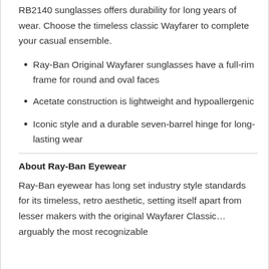RB2140 sunglasses offers durability for long years of wear. Choose the timeless classic Wayfarer to complete your casual ensemble.
Ray-Ban Original Wayfarer sunglasses have a full-rim frame for round and oval faces
Acetate construction is lightweight and hypoallergenic
Iconic style and a durable seven-barrel hinge for long-lasting wear
About Ray-Ban Eyewear
Ray-Ban eyewear has long set industry style standards for its timeless, retro aesthetic, setting itself apart from lesser makers with the original Wayfarer Classic… arguably the most recognizable